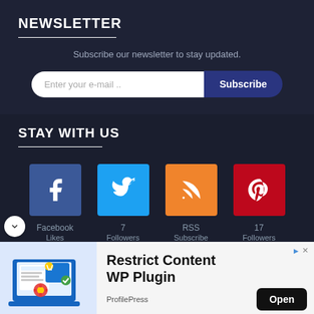NEWSLETTER
Subscribe our newsletter to stay updated.
[Figure (screenshot): Email subscription form with input field 'Enter your e-mail ..' and a 'Subscribe' button]
STAY WITH US
[Figure (infographic): Social media icons: Facebook (Likes), Twitter (7 Followers), RSS (Subscribe), Pinterest (17 Followers)]
[Figure (screenshot): Advertisement banner for 'Restrict Content WP Plugin' by ProfilePress with an Open button]